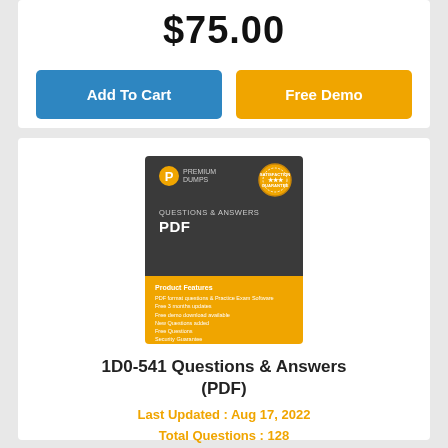$75.00
[Figure (other): Add To Cart button (blue) and Free Demo button (orange)]
[Figure (photo): Product box image: dark gray and orange box labeled 'QUESTIONS & ANSWERS PDF' with Premium Dumps logo and satisfaction guarantee seal]
1D0-541 Questions & Answers (PDF)
Last Updated : Aug 17, 2022
Total Questions : 128
$59.00